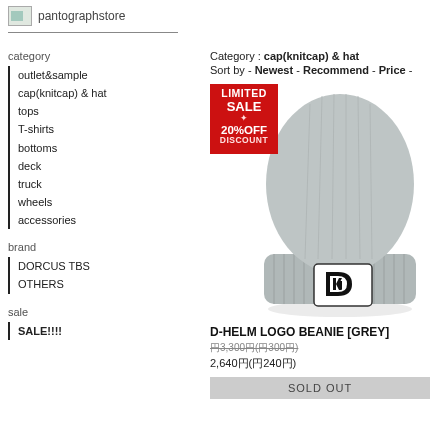pantographstore
category
outlet&sample
cap(knitcap) & hat
tops
T-shirts
bottoms
deck
truck
wheels
accessories
brand
DORCUS TBS
OTHERS
sale
SALE!!!!
Category : cap(knitcap) & hat
Sort by - Newest - Recommend - Price -
[Figure (photo): Grey knit beanie hat with D-HELM logo patch on cuff, with LIMITED SALE 20% OFF DISCOUNT badge overlay]
D-HELM LOGO BEANIE [GREY]
￥3,300円(￥300円) [strikethrough]
2,640円(￥240円)
SOLD OUT